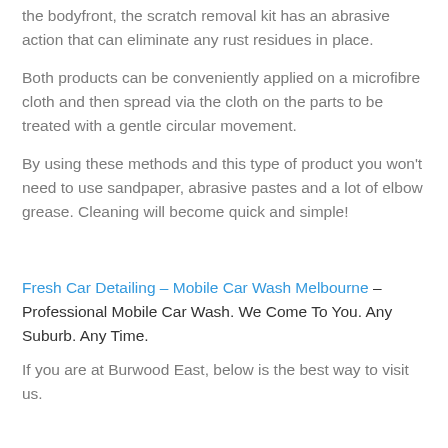the bodyfront, the scratch removal kit has an abrasive action that can eliminate any rust residues in place.
Both products can be conveniently applied on a microfibre cloth and then spread via the cloth on the parts to be treated with a gentle circular movement.
By using these methods and this type of product you won't need to use sandpaper, abrasive pastes and a lot of elbow grease. Cleaning will become quick and simple!
Fresh Car Detailing – Mobile Car Wash Melbourne – Professional Mobile Car Wash. We Come To You. Any Suburb. Any Time.
If you are at Burwood East, below is the best way to visit us.